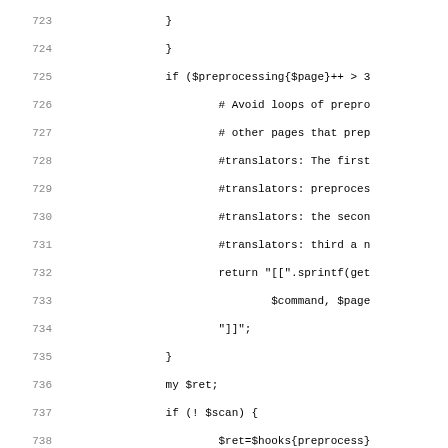Source code listing lines 723-755, Perl code with preprocessing logic